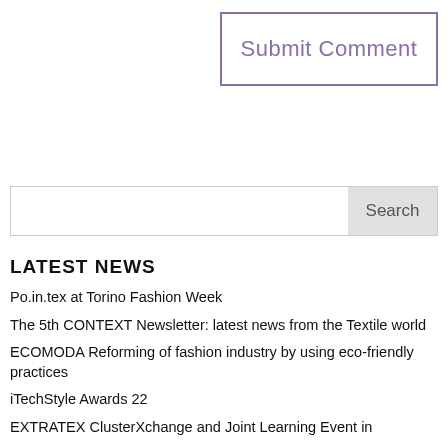Submit Comment
Search
LATEST NEWS
Po.in.tex at Torino Fashion Week
The 5th CONTEXT Newsletter: latest news from the Textile world
ECOMODA Reforming of fashion industry by using eco-friendly practices
iTechStyle Awards 22
EXTRATEX ClusterXchange and Joint Learning Event in